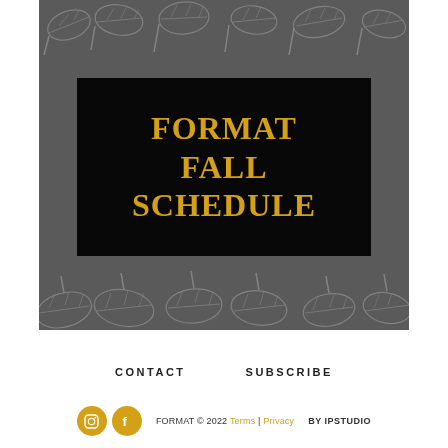[Figure (illustration): Dark gray banner with autumn leaf decorations at top and bottom, containing a black rectangle with golden text reading FORMAT FALL SCHEDULE]
FORMAT FALL SCHEDULE
CONTACT     SUBSCRIBE
FORMAT © 2022  Terms | Privacy     BY IPSTUDIO